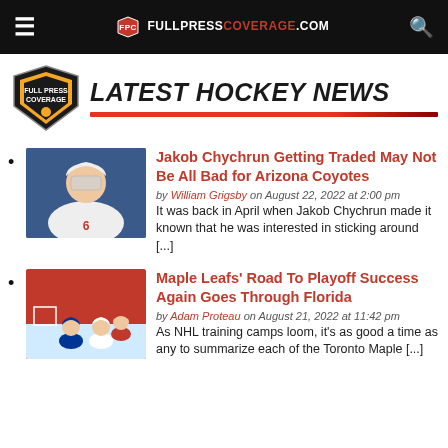FULLPRESSCOVERAGE.COM
LATEST HOCKEY NEWS
Jakob Chychrun Getting Traded May Not Be All Bad for Arizona Coyotes — by William Grigsby on August 22, 2022 at 2:00 pm — It was back in April when Jakob Chychrun made it known that he was interested in sticking around [...]
Maple Leafs' Road To Playoff Success Again Goes Through Florida — by Adam Proteau on August 21, 2022 at 11:42 pm — As NHL training camps loom, it's as good a time as any to summarize each of the Toronto Maple [...]